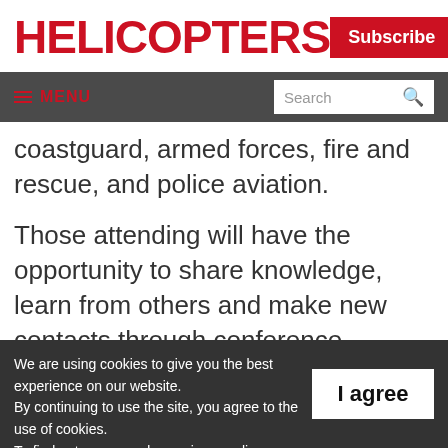HELICOPTERS | Subscribe
≡ MENU | Search
coastguard, armed forces, fire and rescue, and police aviation.
Those attending will have the opportunity to share knowledge, learn from others and make new contacts through conference sessions and
We are using cookies to give you the best experience on our website. By continuing to use the site, you agree to the use of cookies. To find out more, read our privacy policy.